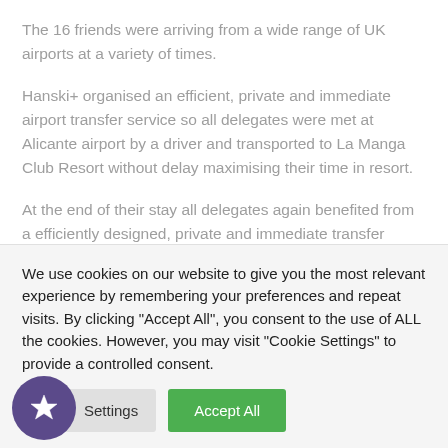The 16 friends were arriving from a wide range of UK airports at a variety of times.
Hanski+ organised an efficient, private and immediate airport transfer service so all delegates were met at Alicante airport by a driver and transported to La Manga Club Resort without delay maximising their time in resort.
At the end of their stay all delegates again benefited from a efficiently designed, private and immediate transfer service.
We use cookies on our website to give you the most relevant experience by remembering your preferences and repeat visits. By clicking "Accept All", you consent to the use of ALL the cookies. However, you may visit "Cookie Settings" to provide a controlled consent.